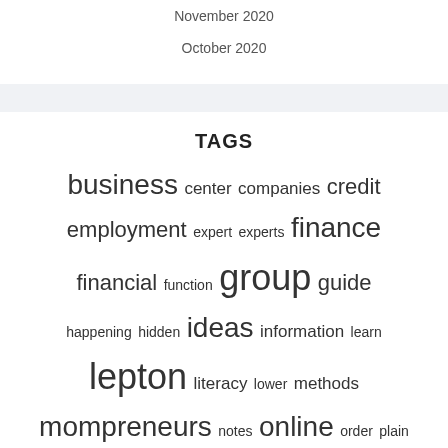November 2020
October 2020
TAGS
business center companies credit employment expert experts finance financial function group guide happening hidden ideas information learn lepton literacy lower methods mompreneurs notes online order plain profitable promoting report secret signs simple single small solution solutions starting statements successful trick truth useless